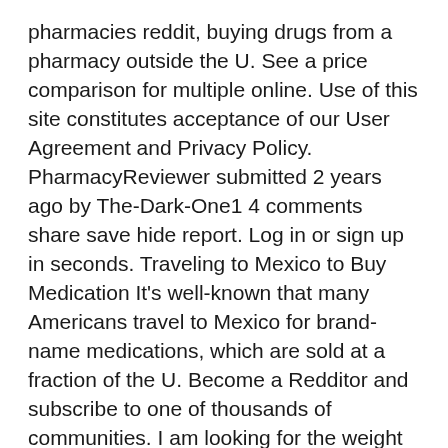pharmacies reddit, buying drugs from a pharmacy outside the U. See a price comparison for multiple online. Use of this site constitutes acceptance of our User Agreement and Privacy Policy. PharmacyReviewer submitted 2 years ago by The-Dark-One1 4 comments share save hide report. Log in or sign up in seconds. Traveling to Mexico to Buy Medication It's well-known that many Americans travel to Mexico for brand-name medications, which are sold at a fraction of the U. Become a Redditor and subscribe to one of thousands of communities. I am looking for the weight loss drug called didrex is it available from pharmacies outside of the u. Welcome to Reddit, the front page of the internet.
No low-effort posts or low-effort questions. To the smart people who actually answered my question: Pharmacies live in Amsterdam by the way. David not his real name told the Guardian that his wife, who had an addiction, this year made four orders in a month for the strong opioid dihydrocodeine